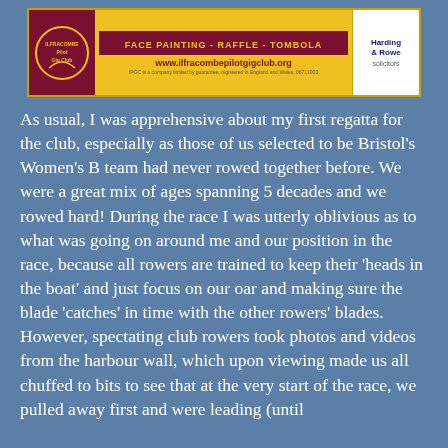[Figure (other): Banner for Ilfracombe Pilot Gig Club featuring club logo, 'FACE PAINTING - RAFFLE - TOMBOLA' text, website www.ilfracombepilotgigclub.org, and Harding & Rowe solicitors sponsor logo]
As usual, I was apprehensive about my first regatta for the club, especially as those of us selected to be Bristol's Women's B team had never rowed together before. We were a great mix of ages spanning 5 decades and we rowed hard! During the race I was utterly oblivious as to what was going on around me and our position in the race, because all rowers are trained to keep their 'heads in the boat' and just focus on our oar and making sure the blade 'catches' in time with the other rowers' blades. However, spectating club rowers took photos and videos from the harbour wall, which upon viewing made us all chuffed to bits to see that at the very start of the race, we pulled away first and were leading (until